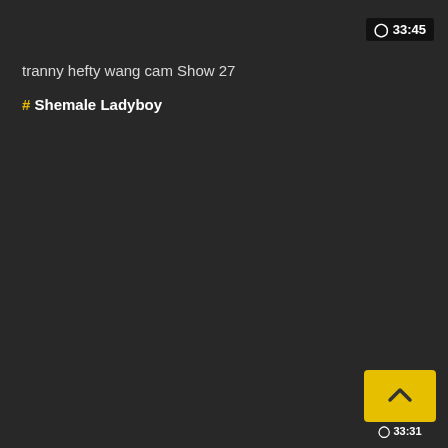🕐 33:45
tranny hefty wang cam Show 27
# Shemale Ladyboy
[Figure (screenshot): Small yellow thumbnail button with upward chevron arrow icon in bottom-right corner, with timestamp 33:31 below it]